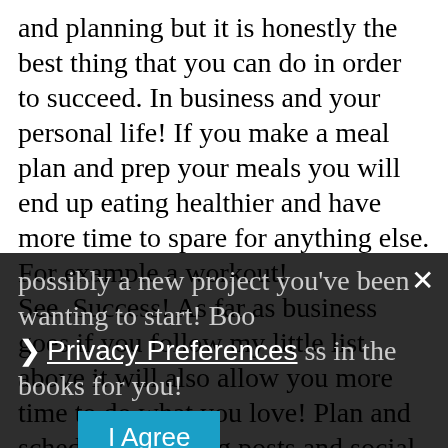and planning but it is honestly the best thing that you can do in order to succeed. In business and your personal life! If you make a meal plan and prep your meals you will end up eating healthier and have more time to spare for anything else. For example a workout! See..Success! As far as business goes if you follow my little list above it will also allow you more time to do what you love! Plan and schedule your blog posts and social media one week in advance and you will have so much more time for yourself or possibly a new project you've been wanting to start! Boo ss in the books for you!